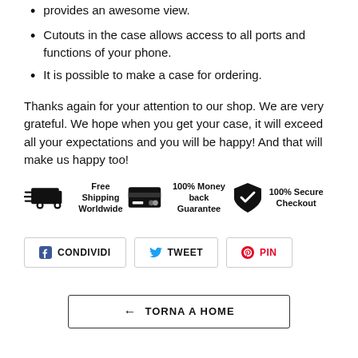provides an awesome view.
Cutouts in the case allows access to all ports and functions of your phone.
It is possible to make a case for ordering.
Thanks again for your attention to our shop. We are very grateful. We hope when you get your case, it will exceed all your expectations and you will be happy! And that will make us happy too!
[Figure (infographic): Three trust badges: a delivery truck icon with 'Free Shipping Worldwide', a credit card icon with '100% Money back Guarantee', and a shield icon with '100% Secure Checkout'.]
[Figure (infographic): Three social share buttons: Facebook 'CONDIVIDI', Twitter 'TWEET', Pinterest 'PIN'.]
[Figure (infographic): A button labeled '← TORNA A HOME'.]